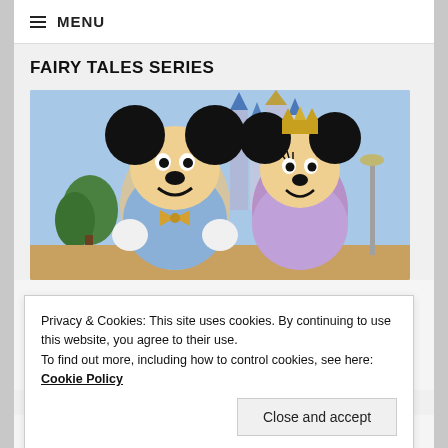≡ MENU
FAIRY TALES SERIES
[Figure (photo): Mickey Mouse and Minnie Mouse characters in royal/anniversary costumes standing in front of Cinderella Castle at Walt Disney World. Mickey wears a light blue and gold outfit with bow tie; Minnie wears a lavender dress with a gold crown. Blue sky in background.]
Privacy & Cookies: This site uses cookies. By continuing to use this website, you agree to their use.
To find out more, including how to control cookies, see here: Cookie Policy
Close and accept
NEWS PER COUNTRY
[Figure (map): World map showing countries, partially visible at bottom of page. Canada, Greenland, and other countries visible with colorful map styling on blue ocean background.]